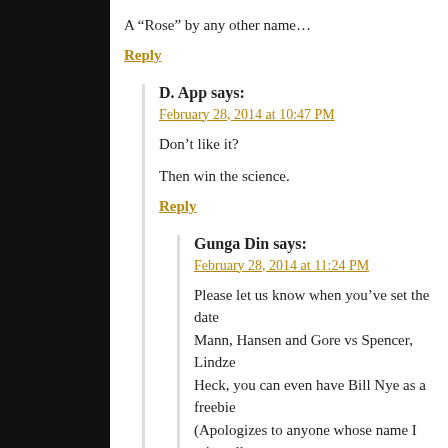A “Rose” by any other name…
Reply
D. App says:
February 28, 2014 at 10:47 PM
Don’t like it?
Then win the science.
Reply
Gunga Din says:
February 28, 2014 at 11:24 PM
Please let us know when you’ve set the date Mann, Hansen and Gore vs Spencer, Lindze Heck, you can even have Bill Nye as a freebie (Apologizes to anyone whose name I misspelle